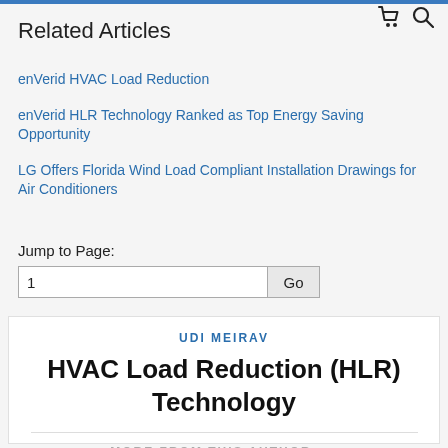Related Articles
enVerid HVAC Load Reduction
enVerid HLR Technology Ranked as Top Energy Saving Opportunity
LG Offers Florida Wind Load Compliant Installation Drawings for Air Conditioners
Jump to Page:
UDI MEIRAV
HVAC Load Reduction (HLR) Technology
MORE FROM THIS AUTHOR →